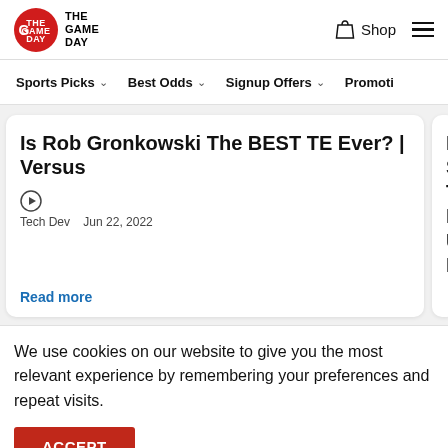THE GAME DAY — Shop (navigation header)
Sports Picks ▾   Best Odds ▾   Signup Offers ▾   Promotio...
Is Rob Gronkowski The BEST TE Ever? | Versus
Tech Dev   Jun 22, 2022
Read more
Embiid... SAME T... Most Un... EVER!
Jordan Schu...
Read mor...
We use cookies on our website to give you the most relevant experience by remembering your preferences and repeat visits.
ACCEPT